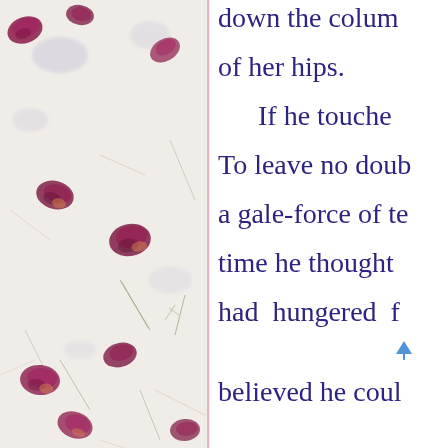[Figure (photo): Decorative background photo showing pressed flower petals (dark pink/magenta) and small leaf/stem fragments scattered on a white textured paper surface. A thin vertical pink line separates this panel from the text.]
down the colum

of her hips.

    If he touche

To leave no doub

a gale-force of te

time he thought

had  hungered  f

believed he coul